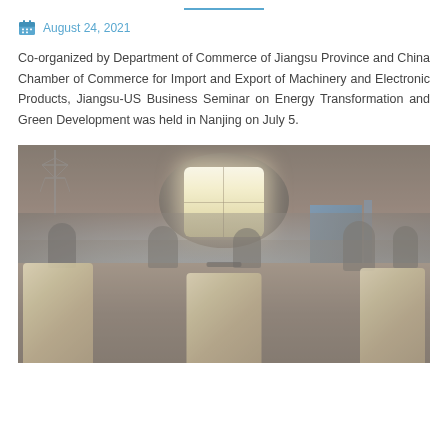August 24, 2021
Co-organized by Department of Commerce of Jiangsu Province and China Chamber of Commerce for Import and Export of Machinery and Electronic Products, Jiangsu-US Business Seminar on Energy Transformation and Green Development was held in Nanjing on July 5.
[Figure (photo): Conference room with circular chandelier ceiling light, participants seated around a large conference table, blue presentation screen visible on the right, chairs in the foreground.]